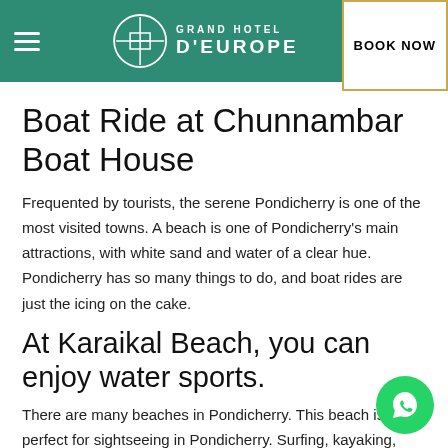Grand Hotel D'Europe — BOOK NOW
Boat Ride at Chunnambar Boat House
Frequented by tourists, the serene Pondicherry is one of the most visited towns. A beach is one of Pondicherry's main attractions, with white sand and water of a clear hue. Pondicherry has so many things to do, and boat rides are just the icing on the cake.
At Karaikal Beach, you can enjoy water sports.
There are many beaches in Pondicherry. This beach is perfect for sightseeing in Pondicherry. Surfing, kayaking, canoeing, and other water sports can be enjoyed at the